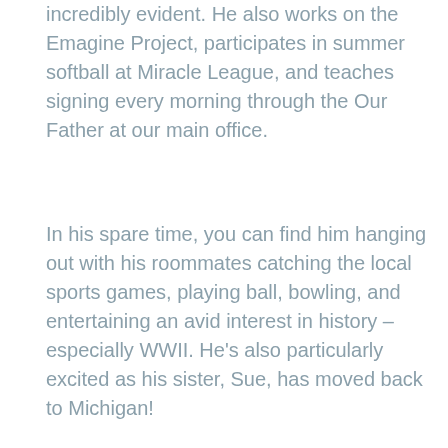incredibly evident. He also works on the Emagine Project, participates in summer softball at Miracle League, and teaches signing every morning through the Our Father at our main office.
In his spare time, you can find him hanging out with his roommates catching the local sports games, playing ball, bowling, and entertaining an avid interest in history – especially WWII. He's also particularly excited as his sister, Sue, has moved back to Michigan!
David is quite a busy guy, but he enjoys every bit of it. His go-getter energy and passion for Angels' Place is so inspiring to everyone who lives and works here, and we couldn't imagine our family without him.
[Figure (photo): Partial image visible at the bottom of the page, appears to be a light teal/blue-green colored photo, cropped at the bottom edge]